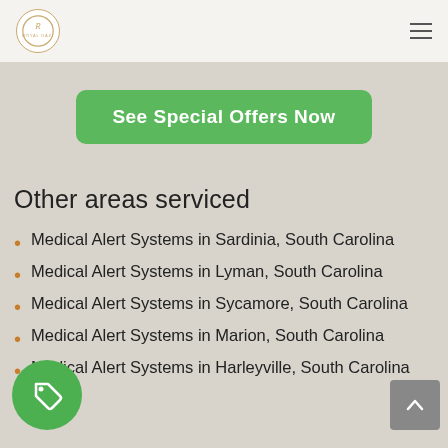Royal Dazi logo and navigation hamburger menu
[Figure (screenshot): Green button partially visible reading 'See Special Offers Now']
Other areas serviced
Medical Alert Systems in Sardinia, South Carolina
Medical Alert Systems in Lyman, South Carolina
Medical Alert Systems in Sycamore, South Carolina
Medical Alert Systems in Marion, South Carolina
Medical Alert Systems in Harleyville, South Carolina